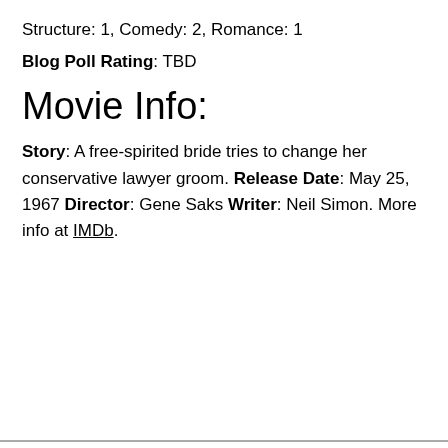Structure: 1, Comedy: 2, Romance: 1
Blog Poll Rating: TBD
Movie Info:
Story: A free-spirited bride tries to change her conservative lawyer groom. Release Date: May 25, 1967 Director: Gene Saks Writer: Neil Simon. More info at IMDb.